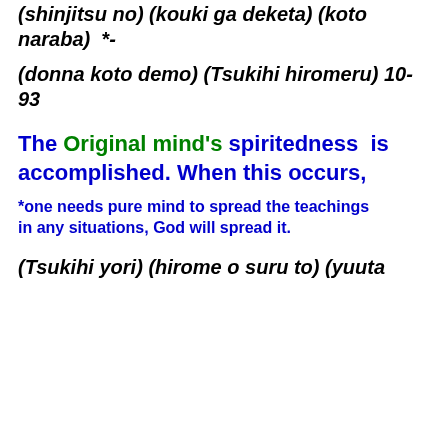(shinjitsu no) (kouki ga deketa) (koto naraba)  *-
(donna koto demo) (Tsukihi hiromeru) 10-93
The Original mind's spiritedness  is accomplished. When this occurs,
*one needs pure mind to spread the teachings in any situations, God will spread it.
(Tsukihi yori) (hirome o suru to) (yuuta